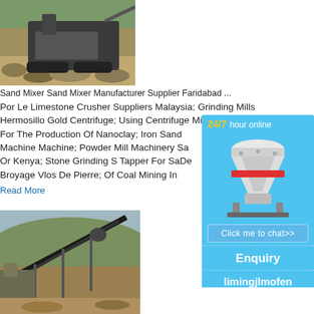[Figure (photo): Mining equipment / stone crusher machine operating at a quarry site, surrounded by rock and gravel. Dark machinery visible.]
Sand Mixer Sand Mixer Manufacturer Supplier Faridabad ...
Por Le Limestone Crusher Suppliers Malaysia; Grinding Mills Hermosillo Gold Centrifuge; Using Centrifuge Milling For The Production Of Nanoclay; Iron Sand Machine Machine; Powder Mill Machinery South Africa Or Kenya; Stone Grinding S Tapper For Sale; De Broyage Vlos De Pierre; Of Coal Mining In
Read More
[Figure (infographic): Advertisement sidebar with blue background. Shows '24/7 hour online' text in yellow/white, a cone crusher machine image, a 'Click me to chat>>' button, an 'Enquiry' section, and 'limingjlmofen' text.]
[Figure (photo): Mining conveyor belt and processing equipment at an open-pit mine, hills in background, daytime.]